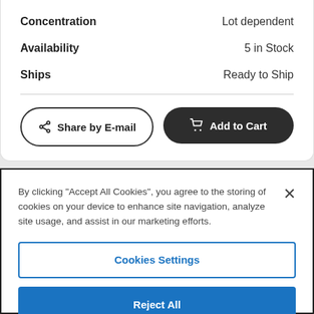| Property | Value |
| --- | --- |
| Concentration | Lot dependent |
| Availability | 5 in Stock |
| Ships | Ready to Ship |
[Figure (screenshot): Share by E-mail button (pill shaped, white background with dark border) and Add to Cart button (pill shaped, dark background with white text and cart icon)]
By clicking “Accept All Cookies”, you agree to the storing of cookies on your device to enhance site navigation, analyze site usage, and assist in our marketing efforts.
[Figure (screenshot): Cookies Settings button (white background, blue border and text), Reject All button (blue background, white text), Accept All Cookies button (blue background, white text, partially visible)]